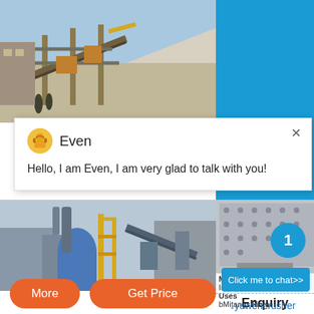[Figure (photo): Industrial quarry/stone crushing equipment with conveyors and machinery, piles of white/light stone in background, blue sky]
[Figure (screenshot): Chat popup with avatar of 'Even', message: Hello, I am Even, I am very glad to talk with you!]
[Figure (photo): Industrial plant with large blue vertical mill/grinder, yellow scaffolding, conveyors and industrial buildings]
[Figure (photo): Close-up of industrial crushing/grinding equipment part, metallic surface with bolts]
1
Click me to chat>>
Enquiry
Mica
India Needs
Uses
bMiťangs Finto
More
Get Price
yuwencrusher